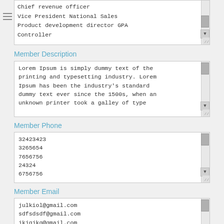[Figure (screenshot): Scrollable list box showing job titles: Chief revenue officer, Vice President National Sales, Product development director GPA, Controller]
Member Description
[Figure (screenshot): Textarea showing Lorem Ipsum placeholder text]
Member Phone
[Figure (screenshot): Scrollable list box showing phone numbers: 32423423, 3265654, 7656756, 24324, 6756756]
Member Email
[Figure (screenshot): Scrollable list box showing email addresses: julkiol@gmail.com, sdfsdsdf@gmail.com, jkjgjkg@gmail.com, yuytuytu@gmail.com, werwere@gmail.com]
Team Panel Styling
Member Content
Yes
Member Ti...